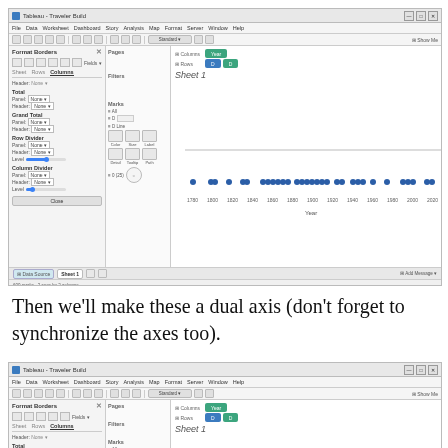[Figure (screenshot): Tableau Desktop screenshot showing Format Borders panel open on the left, with a scatter plot visualization of data points arranged horizontally by Year on x-axis. Green pills show 'Year' in Columns shelf and two blue pills in Rows shelf. Scatter dots appear in blue along a horizontal band around y=0.]
Then we’ll make these a dual axis (don't forget to synchronize the axes too).
[Figure (screenshot): Second Tableau Desktop screenshot showing similar Format Borders panel and similar worksheet layout, partially visible (cropped at bottom).]